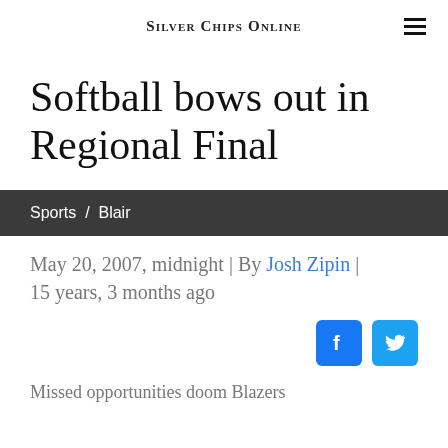Silver Chips Online
Softball bows out in Regional Final
Sports / Blair
May 20, 2007, midnight | By Josh Zipin | 15 years, 3 months ago
[Figure (infographic): Facebook and Twitter social sharing icons]
Missed opportunities doom Blazers